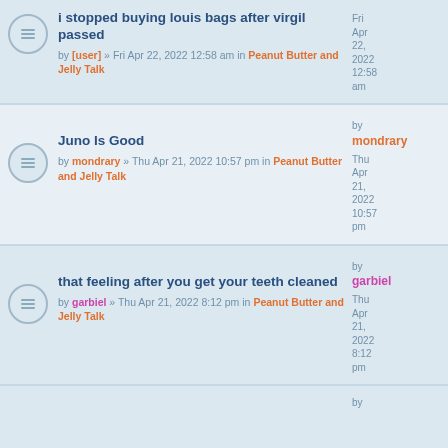i stopped buying louis bags after virgil passed
by [user] » Fri Apr 22, 2022 12:58 am in Peanut Butter and Jelly Talk
by Fri Apr 22, 2022 12:58 am
Juno Is Good
by mondrary » Thu Apr 21, 2022 10:57 pm in Peanut Butter and Jelly Talk
by mondrary Thu Apr 21, 2022 10:57 pm
that feeling after you get your teeth cleaned
by garbiel » Thu Apr 21, 2022 8:12 pm in Peanut Butter and Jelly Talk
by garbiel Thu Apr 21, 2022 8:12 pm
by